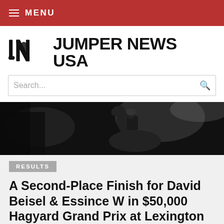≡ MENU
JUMPER NEWS USA
Search...
[Figure (photo): Black and white photo of a horse and rider jumping, dark dramatic background]
RESULTS
A Second-Place Finish for David Beisel & Essince W in $50,000 Hagyard Grand Prix at Lexington